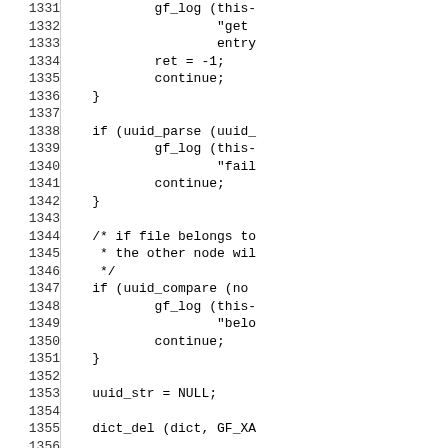Source code listing, lines 1331-1361, showing C code with uuid_parse, uuid_compare, dict_del, and related logic.